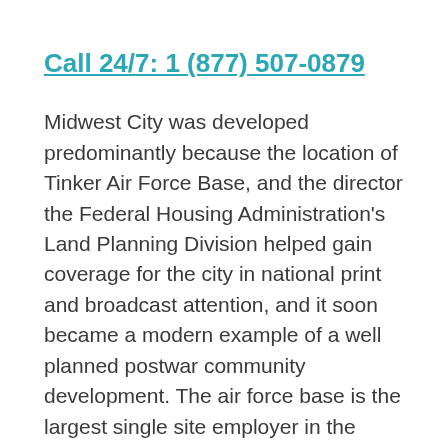Call 24/7: 1 (877) 507-0879
Midwest City was developed predominantly because the location of Tinker Air Force Base, and the director the Federal Housing Administration's Land Planning Division helped gain coverage for the city in national print and broadcast attention, and it soon became a modern example of a well planned postwar community development. The air force base is the largest single site employer in the state, and until 2006, General Motors had an assembly plant here that employed hundreds but it was closed 1970. The air